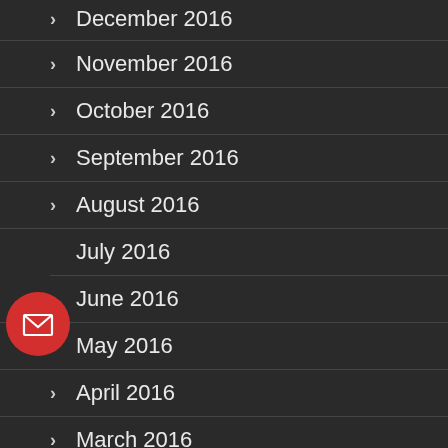December 2016
November 2016
October 2016
September 2016
August 2016
July 2016
June 2016
May 2016
April 2016
March 2016
February 2016
[Figure (illustration): Red circular button with envelope/email icon, floating over the July 2016 list item on the left side]